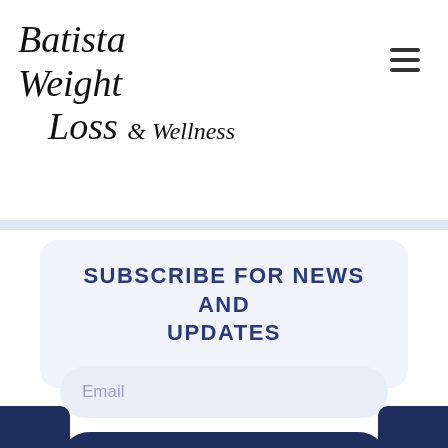[Figure (logo): Batista Weight Loss & Wellness cursive logo in black]
Subscribe for news and updates
Email
Subscribe